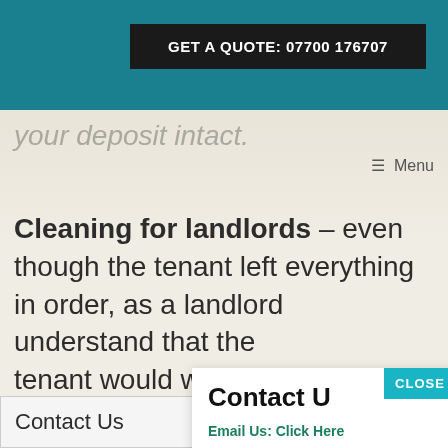GET A QUOTE: 07700 176707
your deposit intact.
≡ Menu
Cleaning for landlords – even though the tenant left everything in order, as a landlord understand that the tenant would want of absolute perfect Contact Us lp you ac
Contact Us
Email Us: Click Here
Call Us: 07700 176707
GET A QUOTE
CLOSE
Contact Us